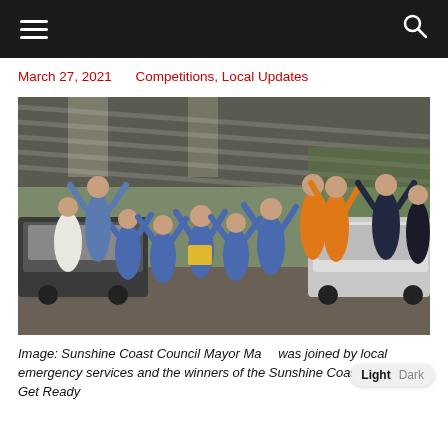Navigation header bar with hamburger menu and search icon
March 27, 2021    Competitions, Local Updates
[Figure (photo): Group photo of school children in blue uniforms with arms raised in celebration, joined by adults including emergency services personnel in orange and dark uniforms, and a woman in white, standing under a covered shelter area with cars in the background.]
Image: Sunshine Coast Council Mayor Ma… was joined by local emergency services and the winners of the Sunshine Coast Council Get Ready Contest Competition of St Teresa's in February. Returning…